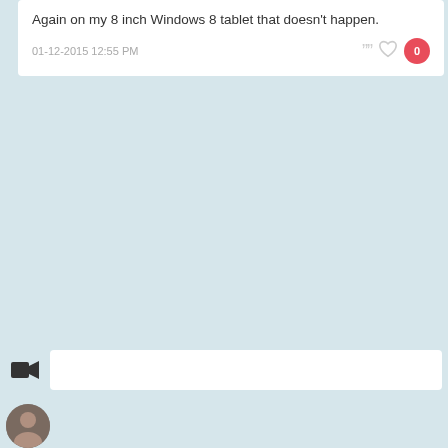Again on my 8 inch Windows 8 tablet that doesn't happen.
01-12-2015 12:55 PM
[Figure (screenshot): Comment card UI with date/time, quote icon, heart icon, and red badge with 0]
[Figure (screenshot): Toolbar area with video camera icon and white input text box]
[Figure (screenshot): Avatar thumbnail at bottom]